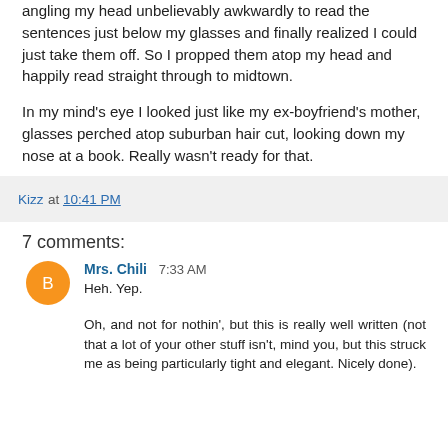angling my head unbelievably awkwardly to read the sentences just below my glasses and finally realized I could just take them off. So I propped them atop my head and happily read straight through to midtown.
In my mind's eye I looked just like my ex-boyfriend's mother, glasses perched atop suburban hair cut, looking down my nose at a book. Really wasn't ready for that.
Kizz at 10:41 PM
7 comments:
Mrs. Chili 7:33 AM
Heh. Yep.
Oh, and not for nothin', but this is really well written (not that a lot of your other stuff isn't, mind you, but this struck me as being particularly tight and elegant. Nicely done).